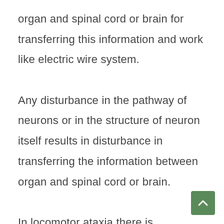organ and spinal cord or brain for transferring this information and work like electric wire system.

Any disturbance in the pathway of neurons or in the structure of neuron itself results in disturbance in transferring the information between organ and spinal cord or brain.

In locomotor ataxia there is hardening, degeneration and sclerosis of the neuro